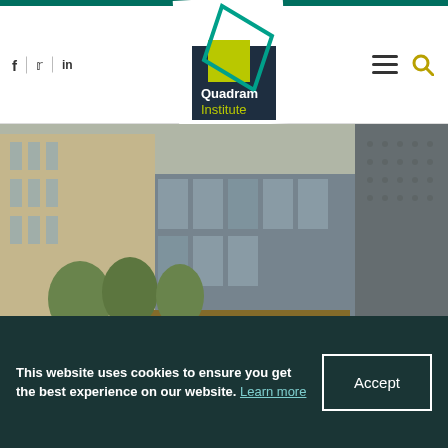Quadram Institute – navigation header with social icons (f, Twitter, in), logo, hamburger menu, search icon
[Figure (photo): Exterior photograph of the Quadram Institute building in Norwich – modern architecture with glass facade, trees and wooden outdoor seating area in the foreground. The Quadram Institute logo (geometric diamond shape in teal/yellow/dark) is overlaid at centre.]
29th July 2021
Quadram Institute communications
This website uses cookies to ensure you get the best experience on our website. Learn more
Accept